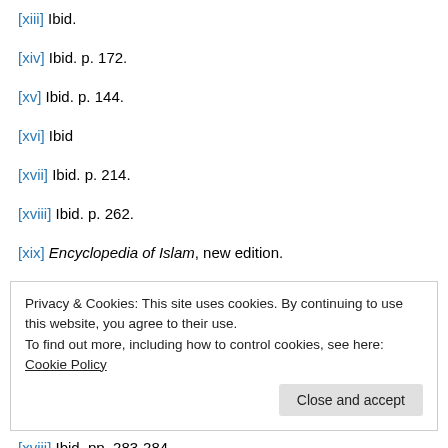[xiii] Ibid.
[xiv] Ibid. p. 172.
[xv] Ibid. p. 144.
[xvi] Ibid
[xvii] Ibid. p. 214.
[xviii] Ibid. p. 262.
[xix] Encyclopedia of Islam, new edition.
Privacy & Cookies: This site uses cookies. By continuing to use this website, you agree to their use.
To find out more, including how to control cookies, see here: Cookie Policy
[xviii] Ibid. pp. 283-284.